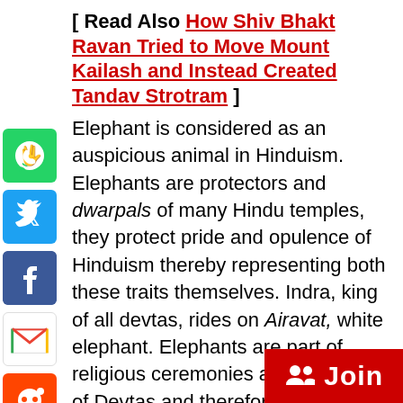[ Read Also How Shiv Bhakt Ravan Tried to Move Mount Kailash and Instead Created Tandav Strotram ]
[Figure (other): Social media share icons column: WhatsApp (green), Twitter (blue), Facebook (blue), Gmail (red/white), Reddit (orange), Email (blue), Pinterest (dark red), Tumblr (dark blue/gray), LinkedIn (blue), Share (blue plus)]
Elephant is considered as an auspicious animal in Hinduism. Elephants are protectors and dwarpals of many Hindu temples, they protect pride and opulence of Hinduism thereby representing both these traits themselves. Indra, king of all devtas, rides on Airavat, white elephant. Elephants are part of religious ceremonies and functions of Devtas and therefore Hindus follow them even today in some parts of Bharat. Similarly, there are elephants guarding the entire place within Kailasa temple. There are real size statues of elephants in and around the temple. An image of the
[Figure (other): Red Join button with group/people icon in bottom right corner]